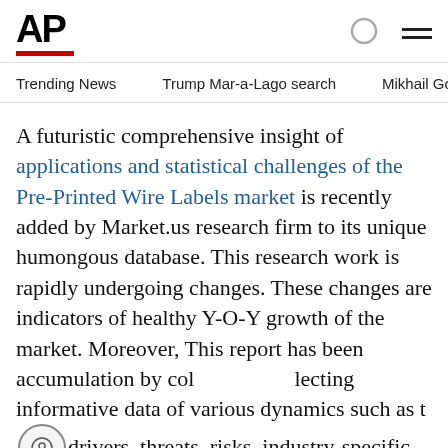AP
Trending News   Trump Mar-a-Lago search   Mikhail Gorbachev d
A futuristic comprehensive insight of applications and statistical challenges of the Pre-Printed Wire Labels market is recently added by Market.us research firm to its unique humongous database. This research work is rapidly undergoing changes. These changes are indicators of healthy Y-O-Y growth of the market. Moreover, This report has been accumulation by collecting informative data of various dynamics such as the drivers, threats, risks, industry-specific challenges, restraints and lucrative Opportunities along with key methodologies. For better understanding, This research report crystallizes on innumerable attributes of